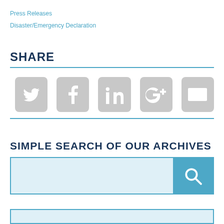Press Releases
Disaster/Emergency Declaration
SHARE
[Figure (infographic): Social media share icons: Twitter, Facebook, LinkedIn, Google+, Email, arranged horizontally with gray rounded-square backgrounds]
SIMPLE SEARCH OF OUR ARCHIVES
[Figure (other): Search bar with light blue input field and teal search button with magnifying glass icon]
[Figure (other): Partial teal-bordered blue box at bottom of page]